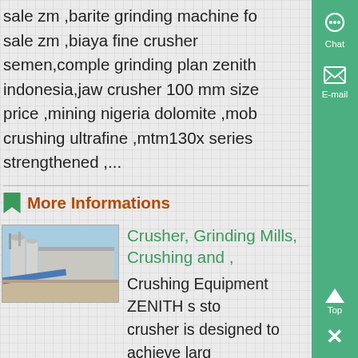sale zm ,barite grinding machine for sale zm ,biaya fine crusher semen,comple grinding plan zenith indonesia,jaw crusher 100 mm size price ,mining nigeria dolomite ,mob crushing ultrafine ,mtm130x series strengthened ....
More Informations
[Figure (photo): Industrial facility or plant exterior with machinery, silos, and a blue conveyor structure under a clear sky.]
Crusher, Grinding Mills, Crushing and ,
Crushing Equipment ZENITH s stone crusher is designed to achieve large productivity and higher crushing rate. From large primary crushers jaw crushers and impact crushers to cone crushers and VSI sand makers as